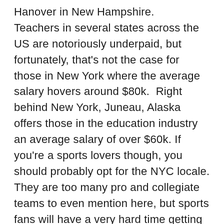Hanover in New Hampshire. Teachers in several states across the US are notoriously underpaid, but fortunately, that's not the case for those in New York where the average salary hovers around $80k.  Right behind New York, Juneau, Alaska offers those in the education industry an average salary of over $60k. If you're a sports lovers though, you should probably opt for the NYC locale. They are too many pro and collegiate teams to even mention here, but sports fans will have a very hard time getting bored here. Not all that...